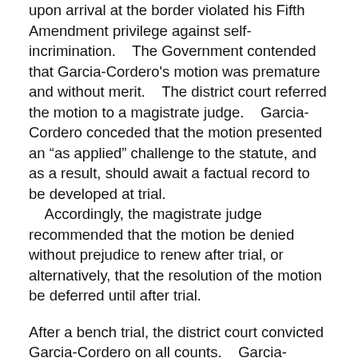upon arrival at the border violated his Fifth Amendment privilege against self-incrimination.    The Government contended that Garcia-Cordero's motion was premature and without merit.    The district court referred the motion to a magistrate judge.    Garcia-Cordero conceded that the motion presented an “as applied” challenge to the statute, and as a result, should await a factual record to be developed at trial.    Accordingly, the magistrate judge recommended that the motion be denied without prejudice to renew after trial, or alternatively, that the resolution of the motion be deferred until after trial.
After a bench trial, the district court convicted Garcia-Cordero on all counts.    Garcia-Cordero then renewed his motion to dismiss Counts 37-71.    The district court assumed, without deciding, that the act of bringing and presenting aliens to the appropriate border officials would “otherwise be sufficiently testimonial, incriminating, and compelled to qualify for the privilege.”  (R.1-71 at 4.)  Nevertheless, the district court